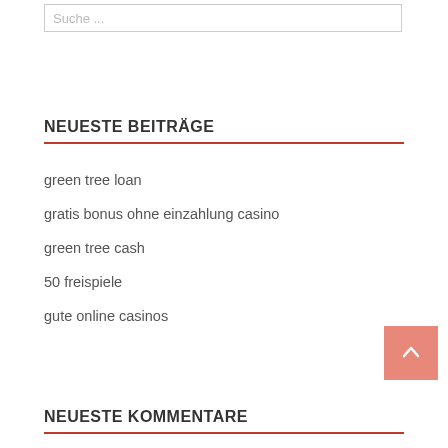Suche ...
NEUESTE BEITRÄGE
green tree loan
gratis bonus ohne einzahlung casino
green tree cash
50 freispiele
gute online casinos
NEUESTE KOMMENTARE